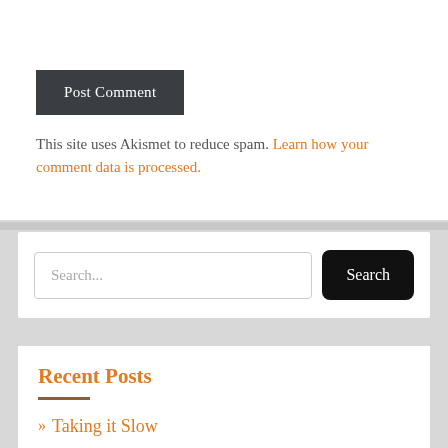Post Comment
This site uses Akismet to reduce spam. Learn how your comment data is processed.
Search...
Recent Posts
» Taking it Slow